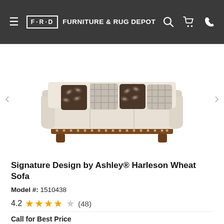FRD FURNITURE & RUG DEPOT
[Figure (photo): Cream/beige upholstered three-seat sofa with dark brown leaf-patterned and plaid accent pillows, nailhead trim along the base, and dark wood bun feet. Displayed on white background.]
Signature Design by Ashley® Harleson Wheat Sofa
Model #: 1510438
4.2 ★★★★☆ (48)
Call for Best Price